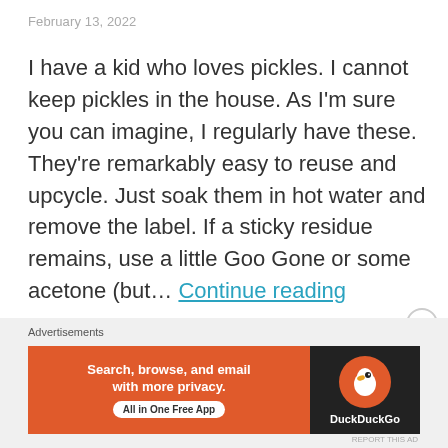February 13, 2022
I have a kid who loves pickles. I cannot keep pickles in the house. As I'm sure you can imagine, I regularly have these. They're remarkably easy to reuse and upcycle. Just soak them in hot water and remove the label. If a sticky residue remains, use a little Goo Gone or some acetone (but… Continue reading
Advertisements
[Figure (other): DuckDuckGo advertisement banner: orange background with text 'Search, browse, and email with more privacy. All in One Free App' and DuckDuckGo duck logo on dark background]